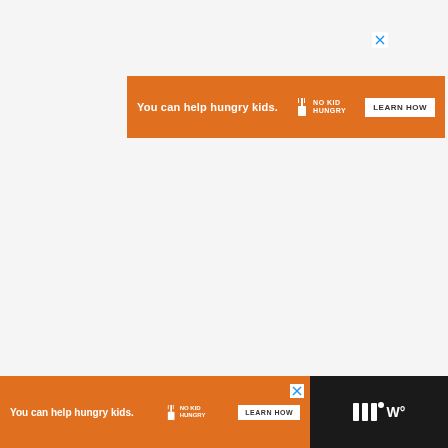[Figure (screenshot): Orange advertisement banner for No Kid Hungry charity with text 'You can help hungry kids.' and 'LEARN HOW' button, with a close X button]
[Figure (screenshot): Blue circular like/heart button with count of 1 and a share button below]
[Figure (screenshot): What's Next card showing thumbnail and text 'Can Steam Deck...' with blue arrow]
[Figure (screenshot): Bottom dark bar with orange No Kid Hungry advertisement and site logo]